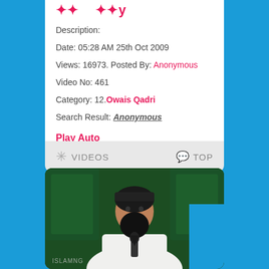... ...y
Description:
Date: 05:28 AM 25th Oct 2009
Views: 16973. Posted By: Anonymous
Video No: 461
Category: 12.Owais Qadri
Search Result: Anonymous
Play Auto
VIDEOS   TOP
[Figure (photo): A bearded man wearing a dark turban and white clothing, speaking into a microphone, with a green architectural background.]